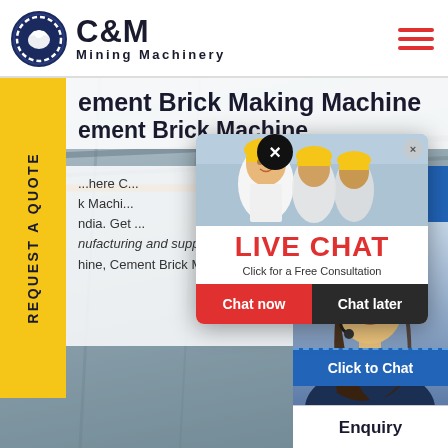[Figure (logo): C&M Mining Machinery logo with eagle/gear emblem in navy blue circle, company name in bold black text]
Cement Brick Making Machine Cement Brick Machine
...here C... k Machi... ndia. Get ... nufacturing and supplying Cem... hine, Cement Brick Machine ac...
[Figure (infographic): Live Chat popup overlay showing workers in yellow helmets, red LIVE CHAT text, 'Click for a Free Consultation', Chat now and Chat later buttons]
[Figure (photo): Female customer service agent with headset on right side, Click to Chat button below]
Hours ... line
Click to Chat
Enquiry